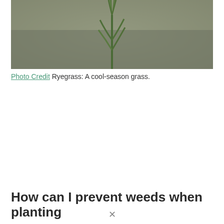[Figure (photo): Close-up photo of ryegrass plant with narrow green leaves and pointed tips against a grey/brown blurred background]
Photo Credit Ryegrass: A cool-season grass.
How can I prevent weeds when planting